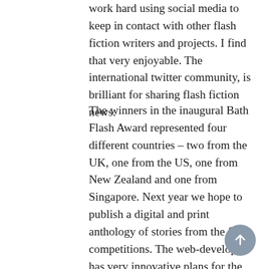work hard using social media to keep in contact with other flash fiction writers and projects. I find that very enjoyable. The international twitter community, is brilliant for sharing flash fiction news.
The winners in the inaugural Bath Flash Award represented four different countries – two from the UK, one from the US, one from New Zealand and one from Singapore. Next year we hope to publish a digital and print anthology of stories from the first competitions. The web-developer has very innovative plans for the Ad Hoc Fiction project, some of which are rolling out soon. I'm not sure where we will be in five-years – but I am sure it will be exciting!